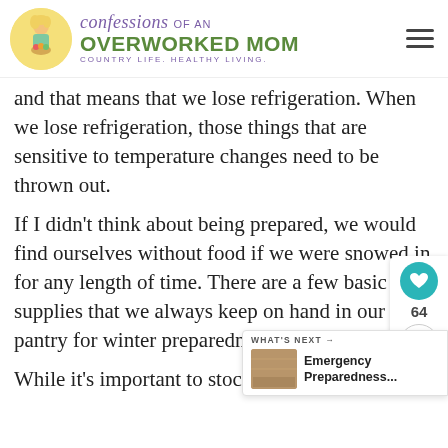confessions OF AN OVERWORKED MOM — COUNTRY LIFE. HEALTHY LIVING.
and that means that we lose refrigeration. When we lose refrigeration, those things that are sensitive to temperature changes need to be thrown out.
If I didn't think about being prepared, we would find ourselves without food if we were snowed in for any length of time. There are a few basic supplies that we always keep on hand in our pantry for winter preparedness just in case.
While it's important to stock up on food